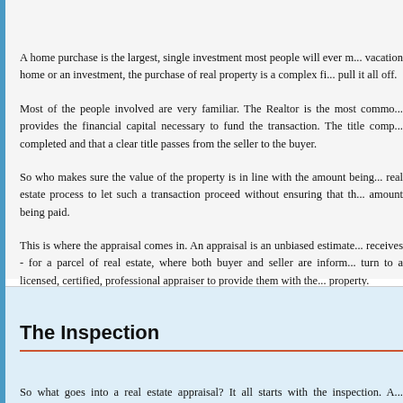A home purchase is the largest, single investment most people will ever m... vacation home or an investment, the purchase of real property is a complex fi... pull it all off.
Most of the people involved are very familiar. The Realtor is the most commo... provides the financial capital necessary to fund the transaction. The title comp... completed and that a clear title passes from the seller to the buyer.
So who makes sure the value of the property is in line with the amount being... real estate process to let such a transaction proceed without ensuring that th... amount being paid.
This is where the appraisal comes in. An appraisal is an unbiased estimate... receives - for a parcel of real estate, where both buyer and seller are inform... turn to a licensed, certified, professional appraiser to provide them with the... property.
The Inspection
So what goes into a real estate appraisal? It all starts with the inspection. A... appraised to ascertain the true status of that property. He or she must actual... bathrooms, the location, and so on, to ensure that they really exist and are... them to be. The inspection often includes a sketch of the property, ensuring th... of the property. Most importantly, the appraiser looks for any obvious f...